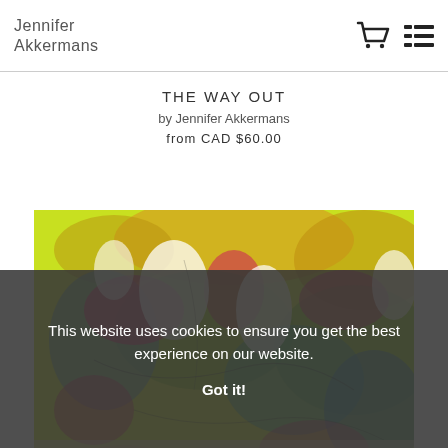Jennifer Akkermans
THE WAY OUT
by Jennifer Akkermans
from CAD $60.00
[Figure (illustration): Abstract colorful artwork with yellow-green background, pink, blue, white and orange paint marks and splashes, organic shapes suggesting leaves or figures]
This website uses cookies to ensure you get the best experience on our website.
Got it!